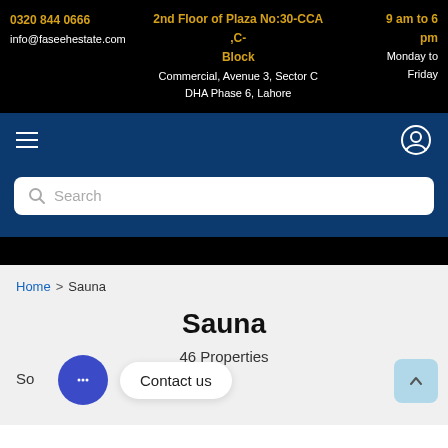0320 844 0666 | info@faseehestate.com | 2nd Floor of Plaza No:30-CCA ,C-Block Commercial, Avenue 3, Sector C DHA Phase 6, Lahore | 9 am to 6 pm Monday to Friday
[Figure (screenshot): Navigation bar with hamburger menu icon on left and user/profile icon on right, dark blue background]
[Figure (screenshot): Search bar with magnifying glass icon and placeholder text 'Search', on dark blue background]
Home > Sauna
Sauna
So
46 Properties
Contact us